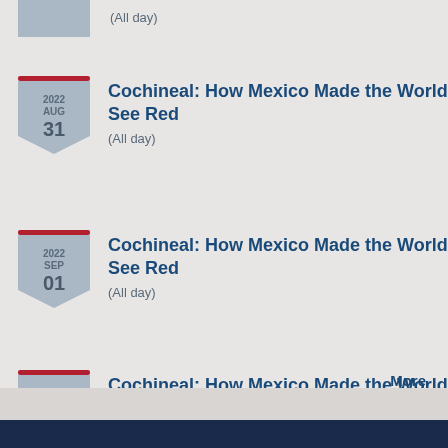(All day)
Cochineal: How Mexico Made the World See Red
(All day)
2022 AUG 31
Cochineal: How Mexico Made the World See Red
(All day)
2022 SEP 01
Cochineal: How Mexico Made the World See Red
(All day)
2022 SEP 02
More